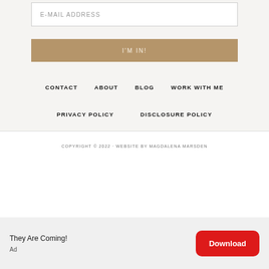E-MAIL ADDRESS
I'M IN!
CONTACT
ABOUT
BLOG
WORK WITH ME
PRIVACY POLICY
DISCLOSURE POLICY
COPYRIGHT © 2022 · WEBSITE BY MAGDALENA MARSDEN
They Are Coming!
Ad
Download